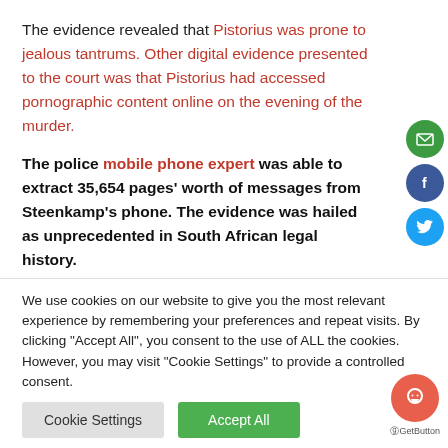The evidence revealed that Pistorius was prone to jealous tantrums. Other digital evidence presented to the court was that Pistorius had accessed pornographic content online on the evening of the murder.
The police mobile phone expert was able to extract 35,654 pages' worth of messages from Steenkamp's phone. The evidence was hailed as unprecedented in South African legal history.
We use cookies on our website to give you the most relevant experience by remembering your preferences and repeat visits. By clicking "Accept All", you consent to the use of ALL the cookies. However, you may visit "Cookie Settings" to provide a controlled consent.